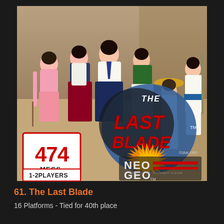[Figure (photo): The Last Blade Neo Geo game cartridge cover art, showing multiple anime-style characters in traditional Japanese/Korean clothing standing together. The box art features the title 'THE LAST BLADE' in large stylized letters, a '474 MEGS' badge, '1-2 PLAYERS' label, 'NEO GEO' logo, and 'CSNK 1997' copyright. The characters include a woman in pink, characters in traditional garb, a person in a yellow hat, and others holding weapons.]
61. The Last Blade
16 Platforms - Tied for 40th place